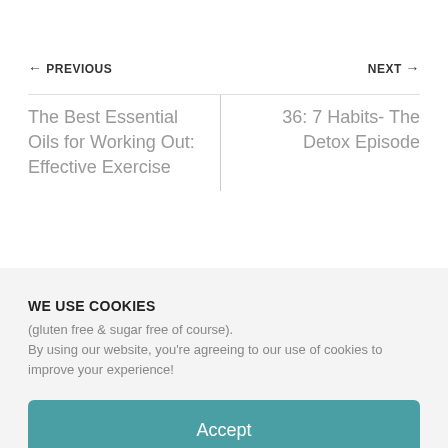← PREVIOUS
NEXT →
The Best Essential Oils for Working Out: Effective Exercise
36: 7 Habits- The Detox Episode
WE USE COOKIES
(gluten free & sugar free of course).
By using our website, you're agreeing to our use of cookies to improve your experience!
Accept
Terms and Conditions   Privacy Policy